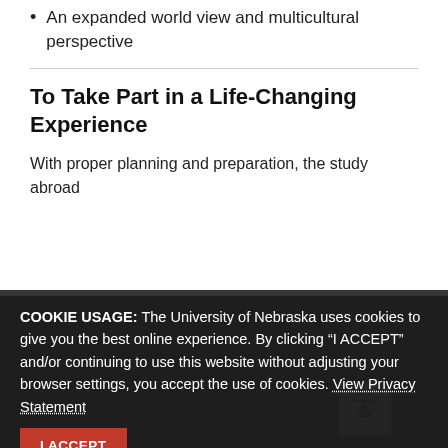An expanded world view and multicultural perspective
To Take Part in a Life-Changing Experience
With proper planning and preparation, the study abroad experience can truly be life-changing. Nationwide, students who have international experience report that international experiences improved their careers. They report that studying abroad affected them not only personally but also academically, giving them more maturity and focus, as well as a renewed sense of purpose that helped them succeed. In all, for those students who choose to study, live, living and studying abroad is one of the most exciting and enriching opportunities available at UNO.
Speak with your adviser about the opportunities available, and visit the Study Abroad website.
COOKIE USAGE: The University of Nebraska uses cookies to give you the best online experience. By clicking “I ACCEPT” and/or continuing to use this website without adjusting your browser settings, you accept the use of cookies. View Privacy Statement
I ACCEPT